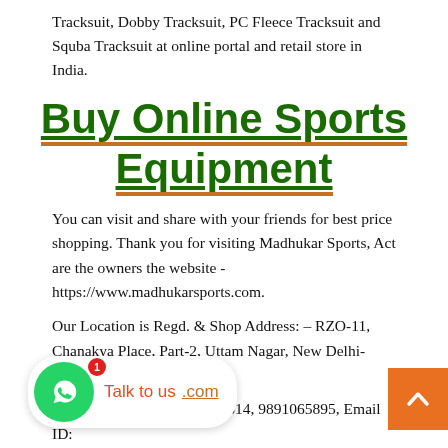Tracksuit, Dobby Tracksuit, PC Fleece Tracksuit and Squba Tracksuit at online portal and retail store in India.
Buy Online Sports Equipment
You can visit and share with your friends for best price shopping. Thank you for visiting Madhukar Sports, Act are the owners the website - https://www.madhukarsports.com.
Our Location is Regd. & Shop Address: – RZO-11, Chanakya Place, Part-2, Uttam Nagar, New Delhi-110059, India,
Mobile No.: +91 9540768814, 9891065895, Email ID: .com
Our Working Time: Shop Opening Time – 09:30 AM TO 09:00 PM